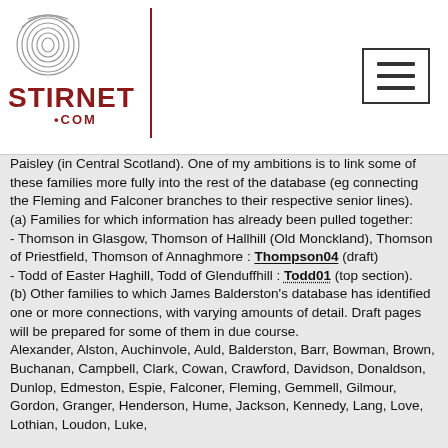[Figure (logo): Stirnet.com logo with fingerprint graphic and red text]
Paisley (in Central Scotland). One of my ambitions is to link some of these families more fully into the rest of the database (eg connecting the Fleming and Falconer branches to their respective senior lines).
(a) Families for which information has already been pulled together:
- Thomson in Glasgow, Thomson of Hallhill (Old Monckland), Thomson of Priestfield, Thomson of Annaghmore : Thompson04 (draft)
- Todd of Easter Haghill, Todd of Glenduffhill : Todd01 (top section).
(b) Other families to which James Balderston's database has identified one or more connections, with varying amounts of detail. Draft pages will be prepared for some of them in due course.
Alexander, Alston, Auchinvole, Auld, Balderston, Barr, Bowman, Brown, Buchanan, Campbell, Clark, Cowan, Crawford, Davidson, Donaldson, Dunlop, Edmeston, Espie, Falconer, Fleming, Gemmell, Gilmour, Gordon, Granger, Henderson, Hume, Jackson, Kennedy, Lang, Love, Lothian, Loudon, Luke,